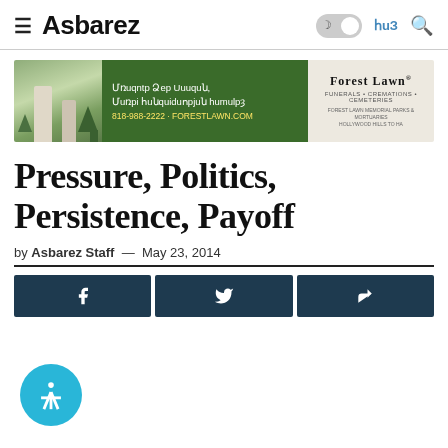Asbarez
[Figure (other): Forest Lawn advertisement banner with Armenian text: Մռաջրել Ձer Այuguն, Մuռpi հuնquiduոpjuն humulp: 818-988-2222 · ForestLawn.com — Forest Lawn Funerals • Cremations • Cemeteries]
Pressure, Politics, Persistence, Payoff
by Asbarez Staff — May 23, 2014
[Figure (other): Social sharing buttons: Facebook, Twitter, Share/forward]